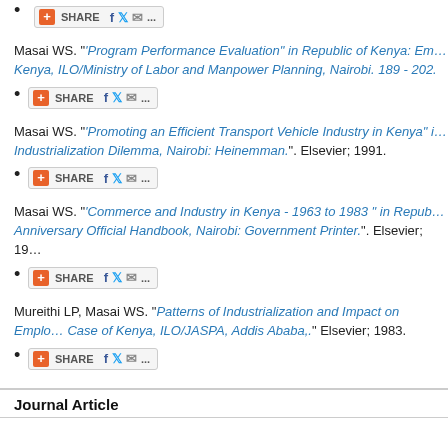[share button]
Masai WS. "'Program Performance Evaluation" in Republic of Kenya: Em… Kenya, ILO/Ministry of Labor and Manpower Planning, Nairobi. 189 - 202.
[share button]
Masai WS. "'Promoting an Efficient Transport Vehicle Industry in Kenya" i… Industrialization Dilemma, Nairobi: Heinemman.". Elsevier; 1991.
[share button]
Masai WS. "'Commerce and Industry in Kenya - 1963 to 1983 " in Repub… Anniversary Official Handbook, Nairobi: Government Printer.". Elsevier; 19…
[share button]
Mureithi LP, Masai WS. "Patterns of Industrialization and Impact on Emplo… Case of Kenya, ILO/JASPA, Addis Ababa,." Elsevier; 1983.
[share button]
Journal Article